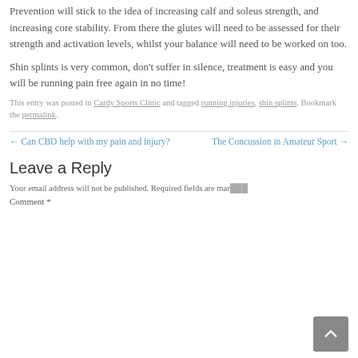Prevention will stick to the idea of increasing calf and soleus strength, and increasing core stability. From there the glutes will need to be assessed for their strength and activation levels, whilst your balance will need to be worked on too.
Shin splints is very common, don't suffer in silence, treatment is easy and you will be running pain free again in no time!
This entry was posted in Cardy Sports Clinic and tagged running injuries, shin splints. Bookmark the permalink.
← Can CBD help with my pain and injury?
The Concussion in Amateur Sport →
Leave a Reply
Your email address will not be published. Required fields are mar
Comment *